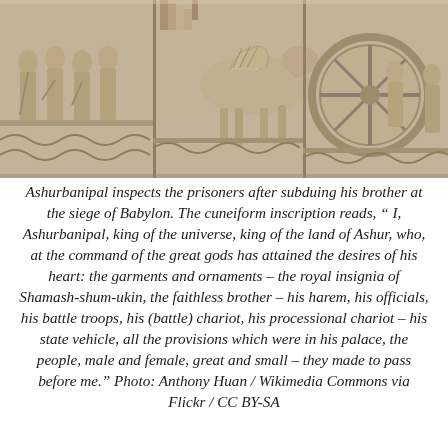[Figure (photo): Stone bas-relief carving depicting Ashurbanipal inspecting prisoners after the siege of Babylon. Shows rows of figures including prisoners, a horse, a large chariot wheel, and attendants, carved in ancient Assyrian style.]
Ashurbanipal inspects the prisoners after subduing his brother at the siege of Babylon. The cuneiform inscription reads, " I, Ashurbanipal, king of the universe, king of the land of Ashur, who, at the command of the great gods has attained the desires of his heart: the garments and ornaments – the royal insignia of Shamash-shum-ukin, the faithless brother – his harem, his officials, his battle troops, his (battle) chariot, his processional chariot – his state vehicle, all the provisions which were in his palace, the people, male and female, great and small – they made to pass before me." Photo: Anthony Huan / Wikimedia Commons via Flickr / CC BY-SA